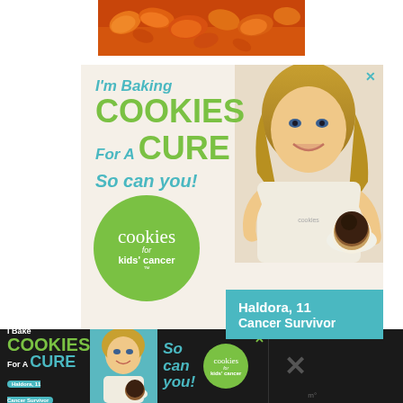[Figure (photo): Partial photo of orange snack food (chips/crackers) on a red background, cropped at top of page]
[Figure (infographic): Advertisement for 'Cookies for Kids Cancer'. Text: I'm Baking COOKIES For A CURE So can you! Features a smiling blonde girl holding a plate of cookies/pancakes. Green circle logo with 'cookies for kids cancer'. Teal badge: Haldora, 11 Cancer Survivor. Close X button in top-right corner.]
[Figure (infographic): Bottom banner advertisement for 'Cookies for Kids Cancer': I Bake COOKIES For A CURE (with Haldora, 11 Cancer Survivor badge), photo of girl, So can you!, cookies for kids cancer logo. Close X on right. Black background with right side showing large X and 'mp' logo.]